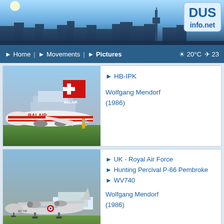[Figure (photo): DUS info.net website header with Düsseldorf airport skyline and DUS info.net logo]
▶ Home | ▶ Movements | ▶ Pictures    ☀ 20°C ✈ 23
[Figure (photo): Balair aircraft (wide-body jet) on tarmac at Düsseldorf airport, 1986]
▶ HB-IPK
Wolfgang Mendorf (1986)
[Figure (photo): UK Royal Air Force Hunting Percival P-66 Pembroke aircraft WV740 on tarmac, 1986]
▶ UK - Royal Air Force
▶ Hunting Percival P-66 Pembroke
▶ WV740
Wolfgang Mendorf (1986)
[Figure (photo): Partial view of People Express aircraft]
▶ People Express